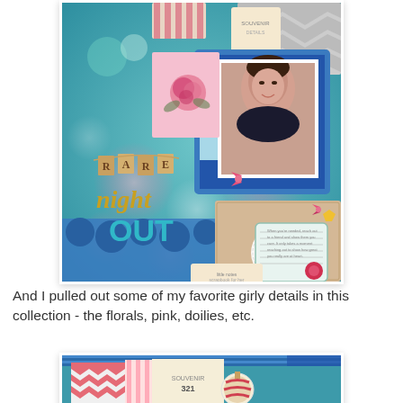[Figure (photo): Scrapbook layout page with teal/blue background featuring bokeh circles in pink and white. Contains a portrait photo of a woman smiling, decorative elements including floral stamps, banner letters spelling 'RARE', handwritten-style text 'night OUT', doily, tags, ribbons, bows, and mixed pattern papers.]
And I pulled out some of my favorite girly details in this collection - the florals, pink, doilies, etc.
[Figure (photo): Bottom portion of a scrapbook layout showing teal blue background with striped washi tape, chevron pattern papers in red/white/blue, and a partial view of decorative elements including a tag with striped ball embellishment.]